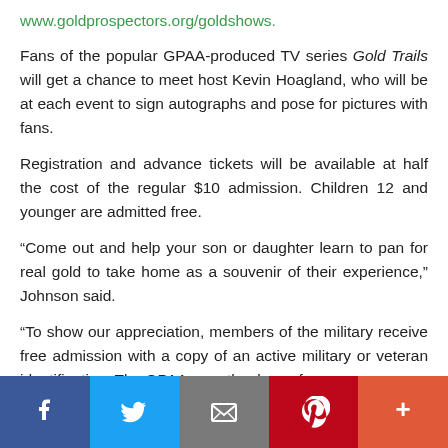www.goldprospectors.org/goldshows.
Fans of the popular GPAA-produced TV series Gold Trails will get a chance to meet host Kevin Hoagland, who will be at each event to sign autographs and pose for pictures with fans.
Registration and advance tickets will be available at half the cost of the regular $10 admission. Children 12 and younger are admitted free.
“Come out and help your son or daughter learn to pan for real gold to take home as a souvenir of their experience,” Johnson said.
“To show our appreciation, members of the military receive free admission with a copy of an active military or veteran identification. The GPAA says thank you for
Facebook Twitter Email Pinterest More